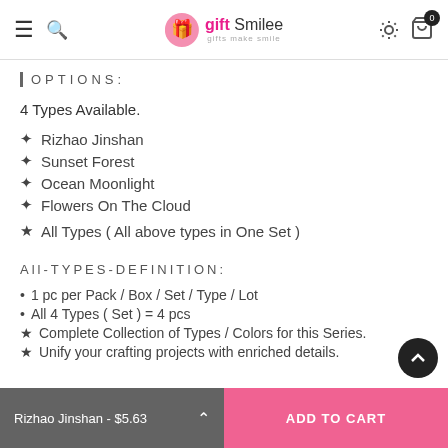gift Smilee – navigation bar with menu, search, settings, cart (0)
| OPTIONS:
4 Types Available.
✦ Rizhao Jinshan
✦ Sunset Forest
✦ Ocean Moonlight
✦ Flowers On The Cloud
★ All Types ( All above types in One Set )
All-TYPES-DEFINITION:
• 1 pc per Pack / Box / Set / Type / Lot
• All 4 Types ( Set ) = 4 pcs
★ Complete Collection of Types / Colors for this Series.
★ Unify your crafting projects with enriched details.
Rizhao Jinshan - $5.63  |  ADD TO CART